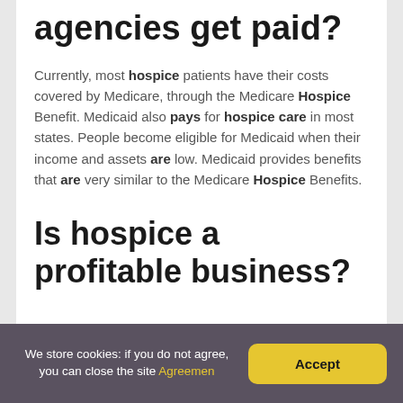agencies get paid?
Currently, most hospice patients have their costs covered by Medicare, through the Medicare Hospice Benefit. Medicaid also pays for hospice care in most states. People become eligible for Medicaid when their income and assets are low. Medicaid provides benefits that are very similar to the Medicare Hospice Benefits.
Is hospice a profitable business?
We store cookies: if you do not agree, you can close the site Agreement